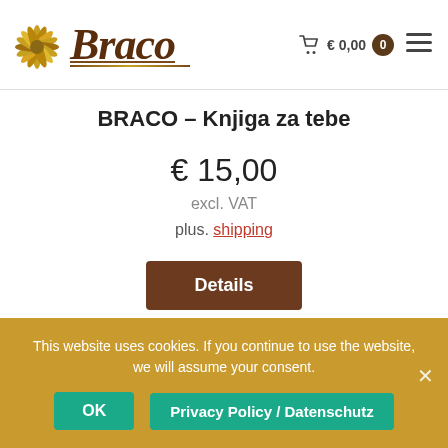[Figure (logo): Braco brand logo with golden star/pinwheel icon on the left and stylized 'Braco' script text in brown with decorative underline]
BRACO – Knjiga za tebe
€ 15,00
excl. VAT
plus. shipping
Details
This website uses cookies. If you continue to use the website, we will assume your consent.
OK
Privacy Policy / Datenschutz